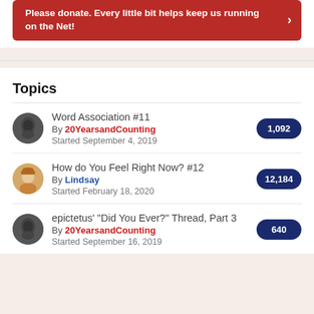Please donate. Every little bit helps keep us running on the Net!
Topics
Word Association #11 | By 20YearsandCounting | Started September 4, 2019 | 1,092
How do You Feel Right Now? #12 | By Lindsay | Started February 18, 2020 | 12,184
epictetus' "Did You Ever?" Thread, Part 3 | By 20YearsandCounting | Started September 16, 2019 | 640